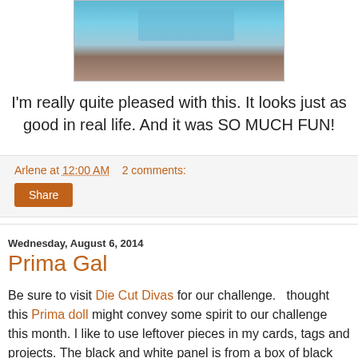[Figure (photo): Partial photo showing crafting materials with blue polka dot paper/ribbon and brown surface]
I'm really quite pleased with this.  It looks just as good in real life.  And it was SO MUCH FUN!
Arlene at 12:00 AM    2 comments:
Share
Wednesday, August 6, 2014
Prima Gal
Be sure to visit Die Cut Divas for our challenge.    thought this Prima doll might convey some spirit to our challenge this month.  I like to use leftover pieces in my cards, tags and projects.  The black and white panel is from a box of black and white note cards which I fell in love with.  The circles are left over from a card using a Memory Box Die.  The stamped background is from a set (can't think of the name) that